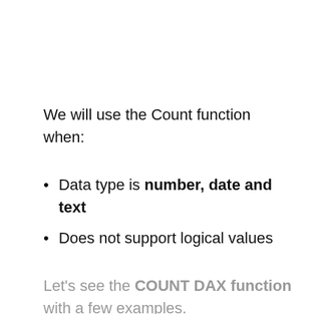We will use the Count function when:
Data type is number, date and text
Does not support logical values
Let's see the COUNT DAX function with a few examples.